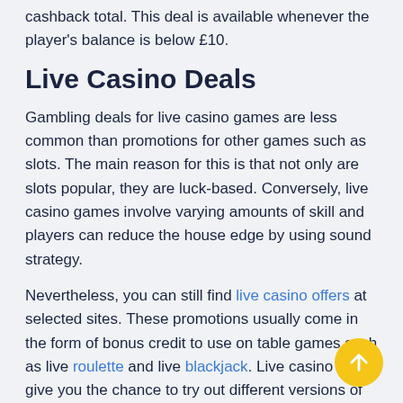cashback total. This deal is available whenever the player's balance is below £10.
Live Casino Deals
Gambling deals for live casino games are less common than promotions for other games such as slots. The main reason for this is that not only are slots popular, they are luck-based. Conversely, live casino games involve varying amounts of skill and players can reduce the house edge by using sound strategy.
Nevertheless, you can still find live casino offers at selected sites. These promotions usually come in the form of bonus credit to use on table games such as live roulette and live blackjack. Live casino deals give you the chance to try out different versions of these games and see if the pace of the game suits your playing style.